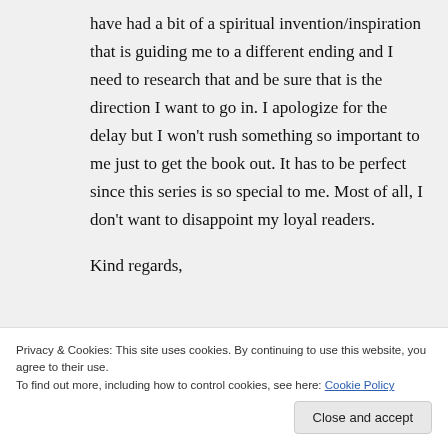have had a bit of a spiritual invention/inspiration that is guiding me to a different ending and I need to research that and be sure that is the direction I want to go in. I apologize for the delay but I won't rush something so important to me just to get the book out. It has to be perfect since this series is so special to me. Most of all, I don't want to disappoint my loyal readers.
Kind regards,
Privacy & Cookies: This site uses cookies. By continuing to use this website, you agree to their use. To find out more, including how to control cookies, see here: Cookie Policy